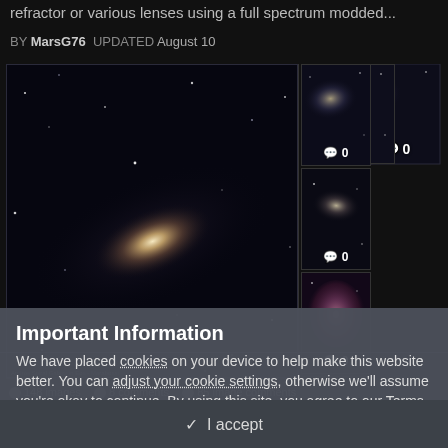refractor or various lenses using a full spectrum modded...
BY MarsG76 UPDATED August 10
[Figure (photo): Grid of 7 astrophotography images: one large galaxy image on left, six smaller nebula/galaxy images on right arranged in 2 rows of 3, each with comment counts (0,0,0,1,0,0)]
148 images  8 comments  85 image comments
Important Information
We have placed cookies on your device to help make this website better. You can adjust your cookie settings, otherwise we'll assume you're okay to continue. By using this site, you agree to our Terms of Use.
✓ I accept